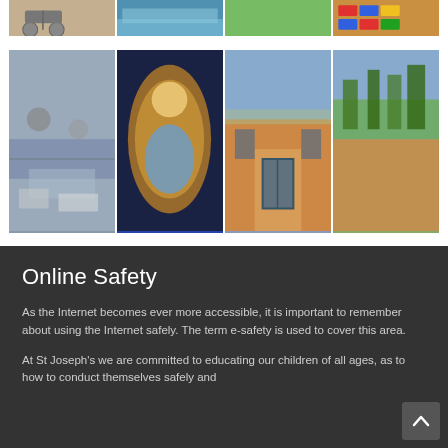[Figure (photo): Top strip of four photos partially visible: tricycles/playground equipment, pool/water, green surface, colorful building blocks/lego]
[Figure (photo): Four photos in a row: aerial view of playground with children, stained glass artwork of figures, brick school building entrance, outdoor landscaped area]
Online Safety
As the Internet becomes ever more accessible, it is important to remember about using the Internet safely. The term e-safety is used to cover this area.
At St Joseph's we are committed to educating our children of all ages, as to how to conduct themselves safely and